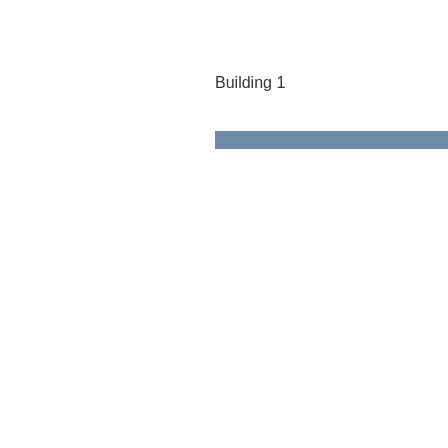Building 1
[Figure (other): A horizontal steel-blue decorative bar/divider element]